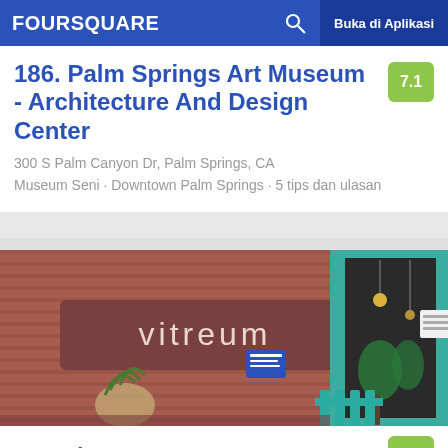FOURSQUARE  Buka di Aplikasi
186. Palm Springs Art Museum - Architecture And Design Center
300 S Palm Canyon Dr, Palm Springs, CA
Museum Seni · Downtown Palm Springs · 5 tips dan ulasan
[Figure (photo): Exterior storefront of Vitreum shop with teal door frame and a sign reading 'vitreum' on a reddish-brown wooden wall. Plants visible inside and outside.]
187. Vitreum
619 W Fir St, San Diego, CA